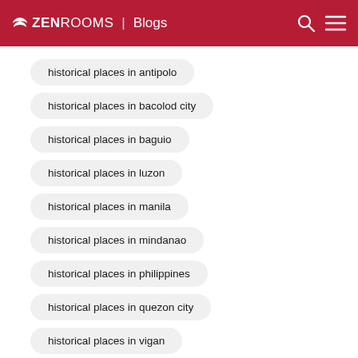ZEN ROOMS | Blogs
historical places in antipolo
historical places in bacolod city
historical places in baguio
historical places in luzon
historical places in manila
historical places in mindanao
historical places in philippines
historical places in quezon city
historical places in vigan